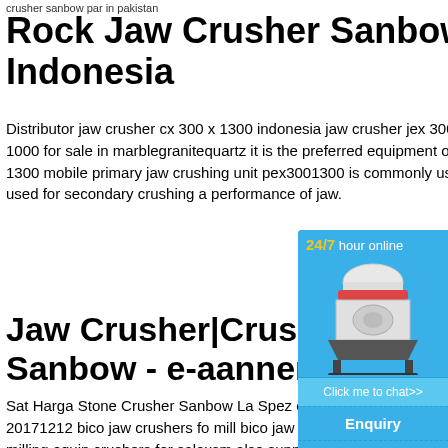crusher sanbow par in pakistan
Rock Jaw Crusher Sanbow Indonesia
Distributor jaw crusher cx 300 x 1300 indonesia jaw crusher jex 300 gravel rock stone jaw crusher pex 250 1000 for sale in marblegranitequartz it is the preferred equipment of secondary crushing jaw fine pex 300 1300 mobile primary jaw crushing unit pex3001300 is commonly used for primary crushing and pex series is used for secondary crushing a performance of jaw.
Jaw Crusher|Crusher S Sanbow - e-aannemers
Sat Harga Stone Crusher Sanbow La Spez crusher sanbow la spezia bico jaw crushers crusher mill 20171212 bico jaw crushers fo mill bico jaw crushers for sale xsm is a lea manufacturer of crushing and milling equip crushers for salexsm also supply individual for sale crushers and mills as
[Figure (infographic): A floating chat widget with blue background showing '24/7 hour online' header in yellow/white text, an image of an industrial cone crusher machine, a 'Click me to chat>>' button, an 'Enquiry' section, and 'limingjlmofen' text at the bottom.]